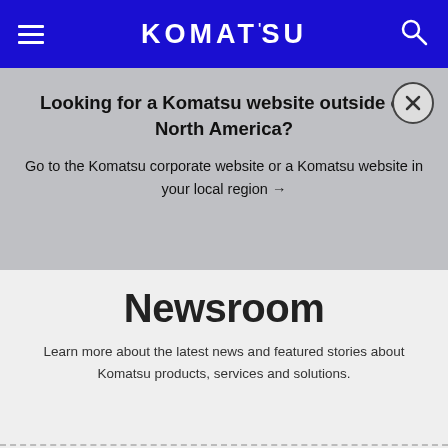KOMATSU
Looking for a Komatsu website outside of North America?
Go to the Komatsu corporate website or a Komatsu website in your local region →
Newsroom
Learn more about the latest news and featured stories about Komatsu products, services and solutions.